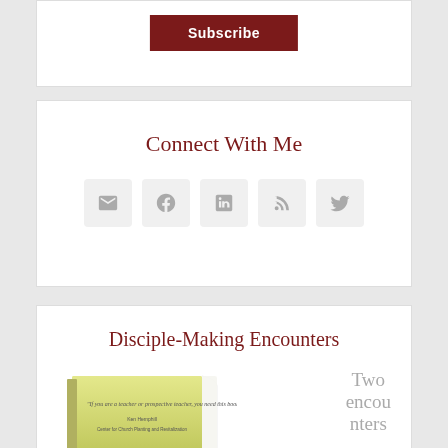[Figure (other): Subscribe button in dark red/maroon]
Connect With Me
[Figure (infographic): Social media icons: email, Facebook, LinkedIn, RSS, Twitter]
Disciple-Making Encounters
[Figure (photo): Book cover for Disciple-Making Encounters with text 'If you are a teacher or prospective teacher, you need this book.' - Ken Hemphill, Center for Church Planting and Revitalization]
Two encounters